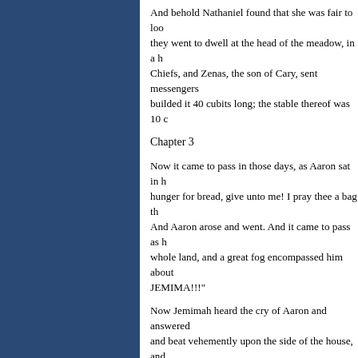And behold Nathaniel found that she was fair to look upon, and they went to dwell at the head of the meadow, in a house of Chiefs, and Zenas, the son of Cary, sent messengers and builded it 40 cubits long; the stable thereof was 10 c...
Chapter 3
Now it came to pass in those days, as Aaron sat in hunger for bread, give unto me! I pray thee a bag th... And Aaron arose and went. And it came to pass as he whole land, and a great fog encompassed him about... JEMIMA!!!"
Now Jemimah heard the cry of Aaron and answered and beat vehemently upon the side of the house, and Levi, but Levi died before his father and had no chi... these: Charlotte and Mariettie, John and George, Wi...
But the days of Mariettie on the earth were as a sha... her, and she came in and went out before the childre... tilling the land.
And behold, William was wiser than the others abo... of old, was a mighty man and a slayer of beasts and of Aaron.
And now after many days it came to pass that Aaron...
Chapter 4
Now Amasa, Israel and Peter were the three divisio...